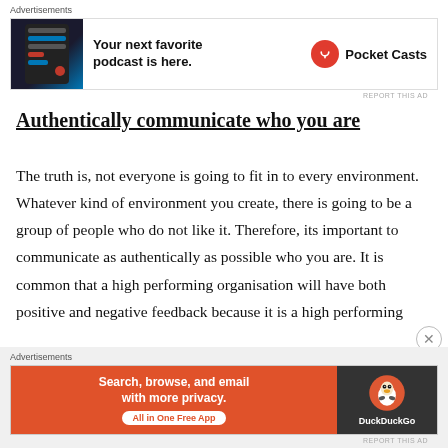[Figure (screenshot): Pocket Casts advertisement banner with phone image, text 'Your next favorite podcast is here.' and Pocket Casts logo]
Authentically communicate who you are
The truth is, not everyone is going to fit in to every environment. Whatever kind of environment you create, there is going to be a group of people who do not like it. Therefore, its important to communicate as authentically as possible who you are. It is common that a high performing organisation will have both positive and negative feedback because it is a high performing
[Figure (screenshot): DuckDuckGo advertisement banner with text 'Search, browse, and email with more privacy. All in One Free App' and DuckDuckGo logo]